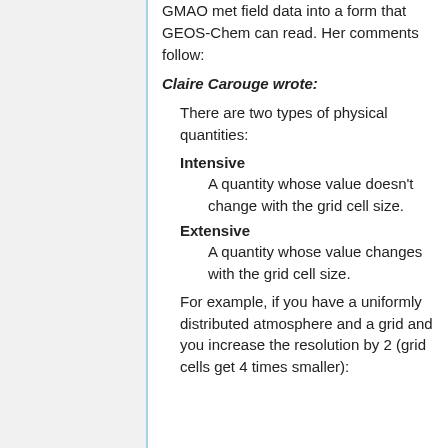GMAO met field data into a form that GEOS-Chem can read. Her comments follow:
Claire Carouge wrote:
There are two types of physical quantities:
Intensive
A quantity whose value doesn't change with the grid cell size.
Extensive
A quantity whose value changes with the grid cell size.
For example, if you have a uniformly distributed atmosphere and a grid and you increase the resolution by 2 (grid cells get 4 times smaller):